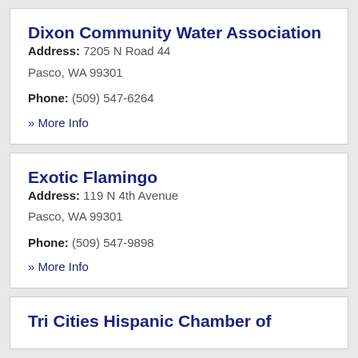Dixon Community Water Association
Address: 7205 N Road 44
Pasco, WA 99301
Phone: (509) 547-6264
» More Info
Exotic Flamingo
Address: 119 N 4th Avenue
Pasco, WA 99301
Phone: (509) 547-9898
» More Info
Tri Cities Hispanic Chamber of